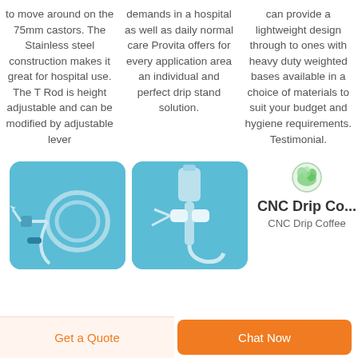to move around on the 75mm castors. The Stainless steel construction makes it great for hospital use. The T Rod is height adjustable and can be modified by adjustable lever
demands in a hospital as well as daily normal care Provita offers for every application area an individual and perfect drip stand solution.
can provide a lightweight design through to ones with heavy duty weighted bases available in a choice of materials to suit your budget and hygiene requirements. Testimonial.
[Figure (photo): Medical IV drip tubing and needle set on blue background]
[Figure (photo): Medical IV drip stand connector and tubing on blue background]
CNC Drip Co...
CNC Drip Coffee
Get a Quote
Chat Now